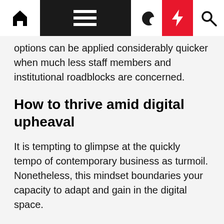Navigation bar with home, menu, moon, bolt, and search icons
options can be applied considerably quicker when much less staff members and institutional roadblocks are concerned.
How to thrive amid digital upheaval
It is tempting to glimpse at the quickly tempo of contemporary business as turmoil. Nonetheless, this mindset boundaries your capacity to adapt and gain in the digital space.
Changes in your group, market and the company globe at massive are wrought by the behaviors of shoppers who are generally online. To thrive, you need to have to place your finest electronic foot ahead and emphasis on delivering maximum worth